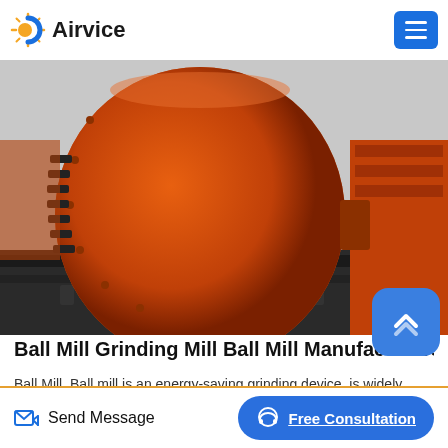Airvice
[Figure (photo): Close-up photograph of an orange ball mill grinding machine with large cylindrical drum, gear teeth, and structural steel frame]
Ball Mill Grinding Mill Ball Mill Manufacturers B...
Ball Mill. Ball mill is an energy-saving grinding device, is widely used in mineral processing, building materials and chemical industries. It grinds material by rotating a cylinder with steel grinding balls, causing the balls to fall back into the cylinder and onto the material to be ground. The rotation is usually betwee...
Send Message   Free Consultation